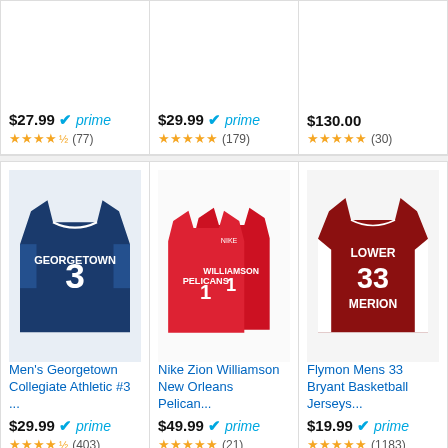[Figure (screenshot): Amazon product ad grid showing basketball jerseys. Top row shows 3 items with prices and ratings. Bottom row shows 3 jersey products with images, titles, prices, and ratings.]
$27.99 prime (77 reviews)
$29.99 prime (179 reviews)
$130.00 (30 reviews)
[Figure (photo): Georgetown #3 navy blue basketball jersey]
Men's Georgetown Collegiate Athletic #3 ...
$29.99 prime (403 reviews)
[Figure (photo): Nike Zion Williamson #1 New Orleans Pelicans red jersey pair]
Nike Zion Williamson New Orleans Pelican...
$49.99 prime (21 reviews)
[Figure (photo): Flymon Lower Merion #33 red basketball jersey]
Flymon Mens 33 Bryant Basketball Jerseys...
$19.99 prime (1183 reviews)
Ads by Amazon
Playoffs
[Figure (photo): LeBron James photo]
LeBron James could link up with former Cavs assistant as Lakers fill out coaching staff